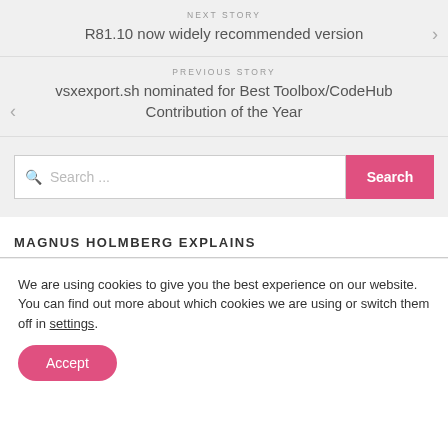NEXT STORY
R81.10 now widely recommended version
PREVIOUS STORY
vsxexport.sh nominated for Best Toolbox/CodeHub Contribution of the Year
Search ...
MAGNUS HOLMBERG EXPLAINS
We are using cookies to give you the best experience on our website.
You can find out more about which cookies we are using or switch them off in settings.
Accept